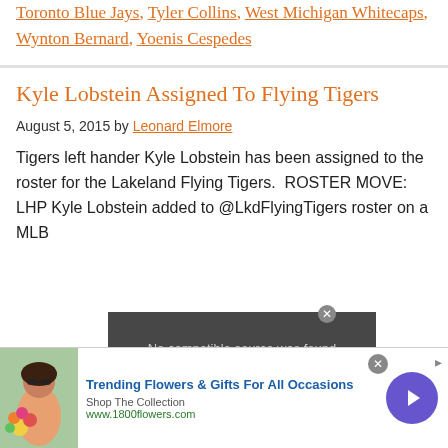Toronto Blue Jays, Tyler Collins, West Michigan Whitecaps, Wynton Bernard, Yoenis Cespedes
Kyle Lobstein Assigned To Flying Tigers
August 5, 2015 by Leonard Elmore
Tigers left hander Kyle Lobstein has been assigned to the roster for the Lakeland Flying Tigers.  ROSTER MOVE: LHP Kyle Lobstein added to @LkdFlyingTigers roster on a MLB
[Figure (screenshot): Video player overlay showing 'No compatible source was found' message]
[Figure (infographic): Advertisement banner for 1800flowers.com: Trending Flowers & Gifts For All Occasions, Shop The Collection, www.1800flowers.com, with woman holding flowers image and purple arrow button]